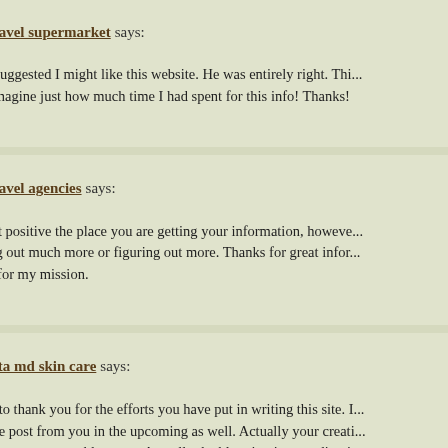travel supermarket says:
My brother suggested I might like this website. He was entirely right. This... You cann't imagine just how much time I had spent for this info! Thanks!
Respond
travel agencies says:
I am now not positive the place you are getting your information, however... while finding out much more or figuring out more. Thanks for great infor... information for my mission.
Respond
elta md skin care says:
I would like to thank you for the efforts you have put in writing this site. I... grade website post from you in the upcoming as well. Actually your creati... inspired me to get my own blog now. Actually the blogging is spreading it...